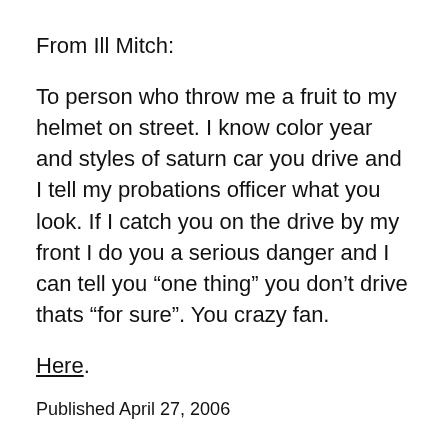From Ill Mitch:
To person who throw me a fruit to my helmet on street. I know color year and styles of saturn car you drive and I tell my probations officer what you look. If I catch you on the drive by my front I do you a serious danger and I can tell you “one thing” you don’t drive thats “for sure”. You crazy fan.
Here.
Published April 27, 2006